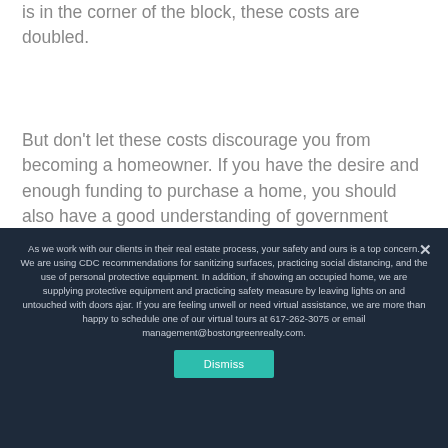is in the corner of the block, these costs are doubled.
But don't let these costs discourage you from becoming a homeowner. If you have the desire and enough funding to purchase a home, you should also have a good understanding of government policies so your house becomes a good
As we work with our clients in their real estate process, your safety and ours is a top concern. We are using CDC recommendations for sanitizing surfaces, practicing social distancing, and the use of personal protective equipment. In addition, if showing an occupied home, we are supplying protective equipment and practicing safety measure by leaving lights on and untouched with doors ajar. If you are feeling unwell or need virtual assistance, we are more than happy to schedule one of our virtual tours at 617-262-3075 or email management@bostongreenrealty.com.
Dismiss